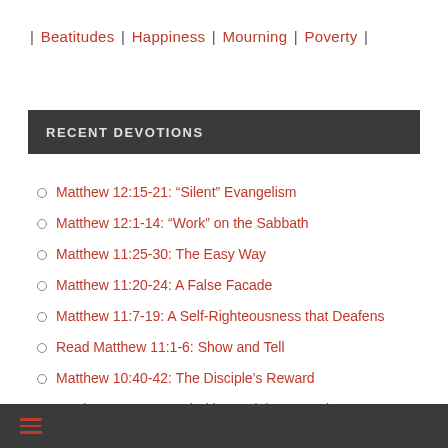| Beatitudes | Happiness | Mourning | Poverty |
RECENT DEVOTIONS
Matthew 12:15-21: “Silent” Evangelism
Matthew 12:1-14: “Work” on the Sabbath
Matthew 11:25-30: The Easy Way
Matthew 11:20-24: A False Facade
Matthew 11:7-19: A Self-Righteousness that Deafens
Read Matthew 11:1-6: Show and Tell
Matthew 10:40-42: The Disciple’s Reward
Matthew 10:32-39: Priorities and the Gospel
Matthew 10:24-31: Do Not Fear!
Matthew 10:16-23: Persecution
≡